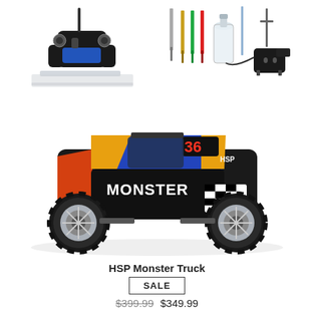[Figure (photo): RC remote controller with antenna on a reflective surface]
[Figure (photo): Screwdrivers, fuel bottle/oil bottle, antenna, and battery charger accessories]
[Figure (photo): HSP Monster Truck RC car, blue/orange/red with large tires, number 36, on white background]
HSP Monster Truck
SALE
$399.99 $349.99